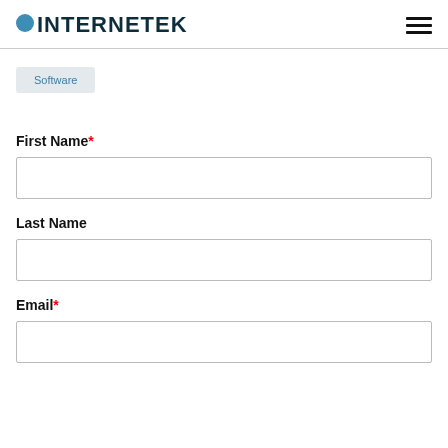[Figure (logo): Internetek logo with blue dot and dark teal bold text]
Software
First Name*
Last Name
Email*